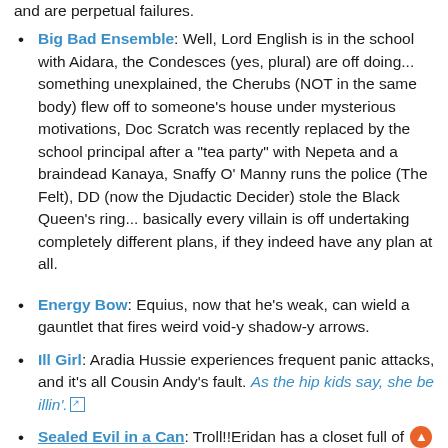and are perpetual failures.
Big Bad Ensemble: Well, Lord English is in the school with Aidara, the Condesces (yes, plural) are off doing... something unexplained, the Cherubs (NOT in the same body) flew off to someone's house under mysterious motivations, Doc Scratch was recently replaced by the school principal after a "tea party" with Nepeta and a braindead Kanaya, Snaffy O' Manny runs the police (The Felt), DD (now the Djudactic Decider) stole the Black Queen's ring... basically every villain is off undertaking completely different plans, if they indeed have any plan at all.
Energy Bow: Equius, now that he's weak, can wield a gauntlet that fires weird void-y shadow-y arrows.
Ill Girl: Aradia Hussie experiences frequent panic attacks, and it's all Cousin Andy's fault. As the hip kids say, she be illin'.
Sealed Evil in a Can: TrollEridan has a closet full of